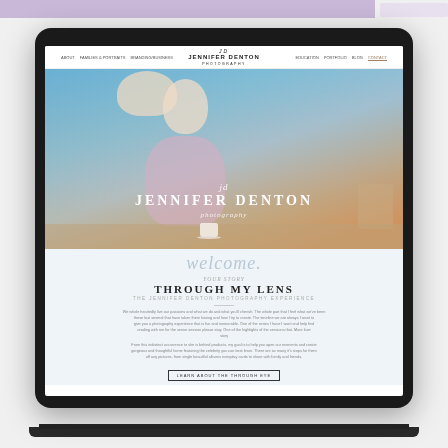[Figure (screenshot): Screenshot of Jennifer Denton Photography website displayed on a tablet/laptop device. The website shows a navigation bar at top with 'JENNIFER DENTON PHOTOGRAPHY' branding, a large hero image of a blonde woman in a pink sweater with 'JENNIFER DENTON' overlay text, a 'welcome' script section, and a 'YOUR STORY / THROUGH MY LENS' section with body copy and a CTA button.]